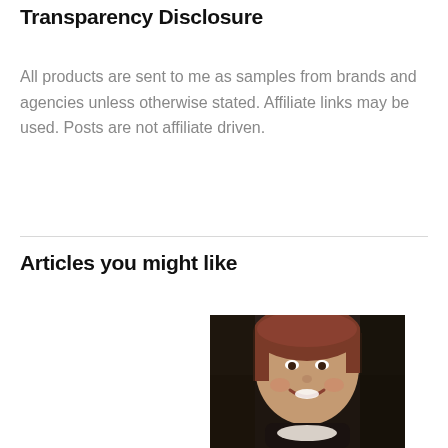Transparency Disclosure
All products are sent to me as samples from brands and agencies unless otherwise stated. Affiliate links may be used. Posts are not affiliate driven.
Articles you might like
[Figure (photo): A smiling woman with short brown hair wearing a dark turtleneck sweater with a white collar, photographed from the shoulders up]